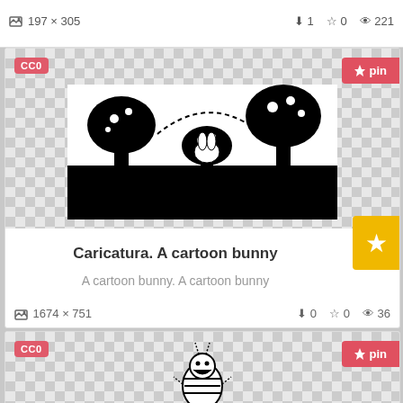197 x 305   ⬇1  ☆0  👁221
[Figure (illustration): Black and white illustration of a bunny scene with mushrooms, trees, and grass in a graphic woodcut style]
Caricatura. A cartoon bunny
A cartoon bunny. A cartoon bunny
1674 x 751   ⬇0  ☆0  👁36
[Figure (illustration): Black and white cartoon illustration of a round bug-like creature with stripes standing upright]